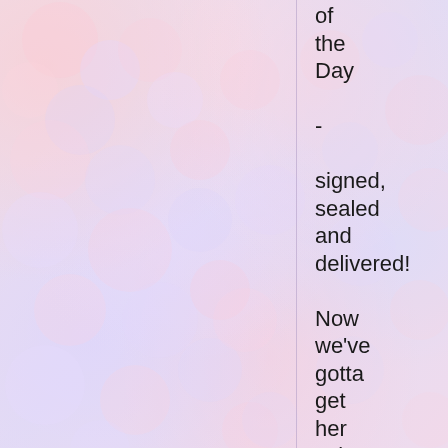[Figure (illustration): Soft pastel blurred bubble/cloud pattern background in pink, lavender, and white tones with a vertical dividing line]
of the Day - signed, sealed and delivered!

Now we've gotta get her using the Word of the Week! :-)